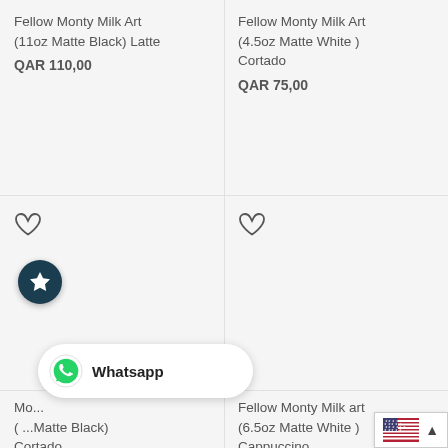Fellow Monty Milk Art (11oz Matte Black) Latte
QAR 110,00
Fellow Monty Milk Art (4.5oz Matte White ) Cortado
QAR 75,00
[Figure (other): Heart (wishlist) icon - outline heart shape, left product card]
[Figure (other): Heart (wishlist) icon - outline heart shape, right product card]
[Figure (other): Dark teal circular badge with white star icon]
Mo... (Matte Black) Cortado
Fellow Monty Milk art (6.5oz Matte White ) Cappuccino
[Figure (other): WhatsApp floating button with label 'Whatsapp']
[Figure (other): US flag with scroll-to-top arrow button overlay]